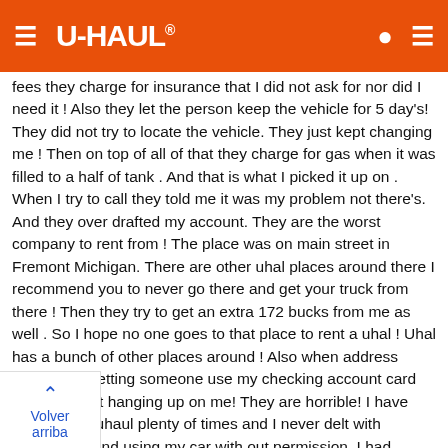U-HAUL
fees they charge for insurance that I did not ask for nor did I need it ! Also they let the person keep the vehicle for 5 day's! They did not try to locate the vehicle. They just kept changing me ! Then on top of all of that they charge for gas when it was filled to a half of tank . And that is what I picked it up on . When I try to call they told me it was my problem not there's. And they over drafted my account. They are the worst company to rent from ! The place was on main street in Fremont Michigan. There are other uhal places around there I recommend you to never go there and get your truck from there ! Then they try to get an extra 172 bucks from me as well . So I hope no one goes to that place to rent a uhal ! Uhal has a bunch of other places around ! Also when address them about letting someone use my checking account card they just kept hanging up on me! They are horrible! I have rented from uhaul plenty of times and I never delt with steeling and using my car with out permission. I had o do with them have the rental and they still charge me . The mber when called they was very helpful! But that store that rents uhal out is horrible ! If you don't want your money stolen then